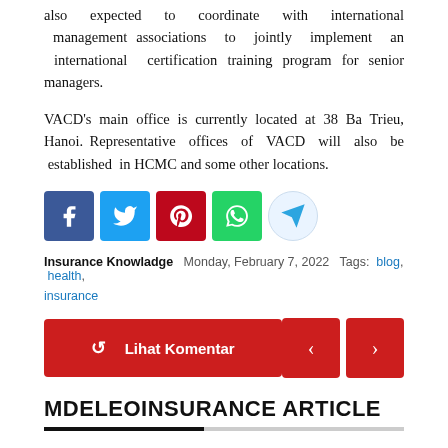also expected to coordinate with international management associations to jointly implement an international certification training program for senior managers.
VACD's main office is currently located at 38 Ba Trieu, Hanoi. Representative offices of VACD will also be established in HCMC and some other locations.
[Figure (infographic): Social media share buttons: Facebook (blue), Twitter (light blue), Pinterest (red), WhatsApp (green), Telegram (circle with paper plane icon)]
Insurance Knowladge  Monday, February 7, 2022  Tags: blog, health, insurance
[Figure (infographic): Red 'Lihat Komentar' (View Comments) button with refresh icon on left, and two red navigation arrow buttons (left and right) on the right side]
MDELEOINSURANCE ARTICLE